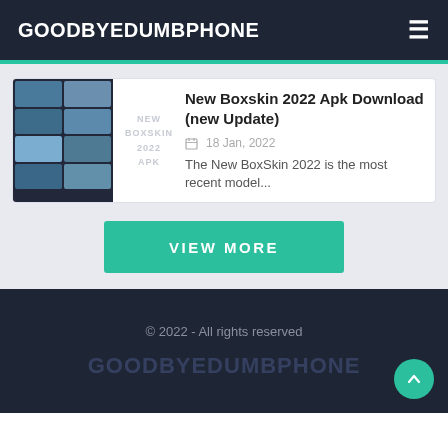GOODBYEDUMBPHONE
[Figure (screenshot): App thumbnail grid showing New Boxskin 2022 APK with multiple game skin preview images in a 2-column grid layout with watermark text NEW BOXSKIN 2022 APK]
New Boxskin 2022 Apk Download (new Update)
18 Jan, 2022
The New BoxSkin 2022 is the most recent model...
VIEW MORE
© 2022 - All rights reserved
GOODBYEDUMBPHONE